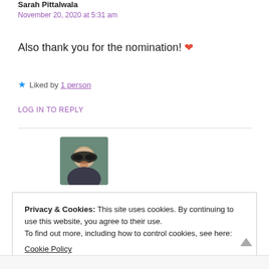Sarah Pittalwala
November 20, 2020 at 5:31 am
Also thank you for the nomination! ❤
★ Liked by 1 person
LOG IN TO REPLY
[Figure (photo): Avatar photo of a person wearing sunglasses, smiling, square thumbnail]
Privacy & Cookies: This site uses cookies. By continuing to use this website, you agree to their use.
To find out more, including how to control cookies, see here:
Cookie Policy
CLOSE AND ACCEPT